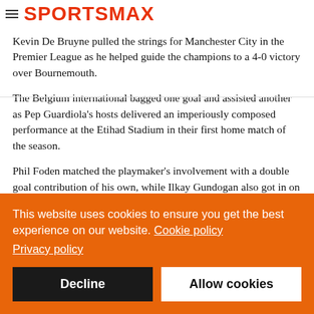SPORTSMAX
Kevin De Bruyne pulled the strings for Manchester City in the Premier League as he helped guide the champions to a 4-0 victory over Bournemouth.
The Belgium international bagged one goal and assisted another as Pep Guardiola's hosts delivered an imperiously composed performance at the Etihad Stadium in their first home match of the season.
Phil Foden matched the playmaker's involvement with a double goal contribution of his own, while Ilkay Gundogan also got in on the act against an outclassed Cherries side, who helped City out with an own goal to complete the scoring.
This website uses cookies to ensure you get the best experience on our website. Cookie policy
Privacy policy
Decline  Allow cookies